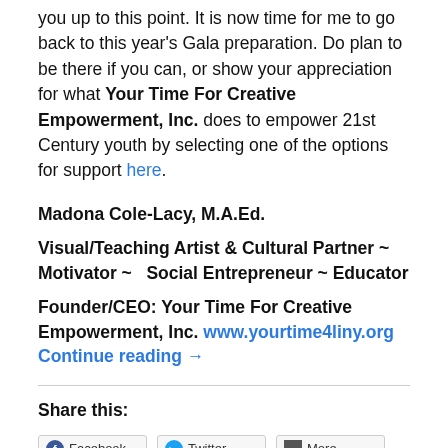you up to this point. It is now time for me to go back to this year's Gala preparation. Do plan to be there if you can, or show your appreciation for what Your Time For Creative Empowerment, Inc. does to empower 21st Century youth by selecting one of the options for support here.
Madona Cole-Lacy, M.A.Ed.
Visual/Teaching Artist & Cultural Partner ~ Motivator ~ Social Entrepreneur ~ Educator
Founder/CEO: Your Time For Creative Empowerment, Inc. www.yourtime4liny.org Continue reading →
Share this: